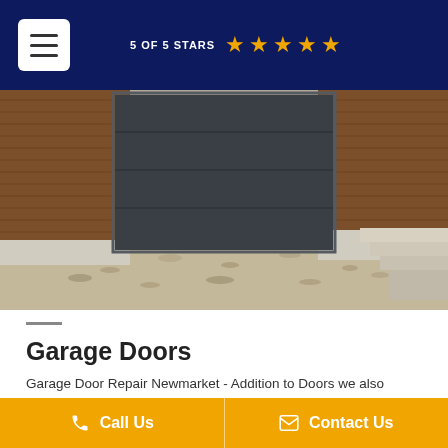5 OF 5 STARS  ★★★★★
[Figure (photo): Modern garage with dark grey sectional door flanked by brown wood panel walls, stone steps on right, gravel driveway]
Garage Doors
Garage Door Repair Newmarket - Addition to Doors we also Specialize in Garage Door Repair Across the GTA we
Call Us   Contact Us